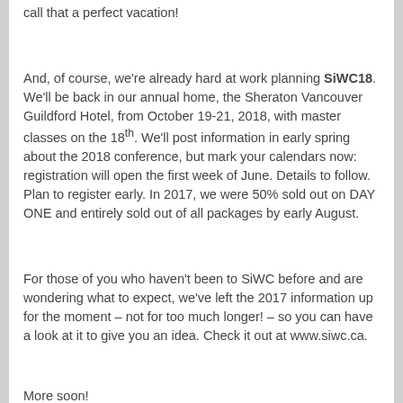call that a perfect vacation!
And, of course, we're already hard at work planning SiWC18. We'll be back in our annual home, the Sheraton Vancouver Guildford Hotel, from October 19-21, 2018, with master classes on the 18th. We'll post information in early spring about the 2018 conference, but mark your calendars now: registration will open the first week of June. Details to follow. Plan to register early. In 2017, we were 50% sold out on DAY ONE and entirely sold out of all packages by early August.
For those of you who haven't been to SiWC before and are wondering what to expect, we've left the 2017 information up for the moment – not for too much longer! – so you can have a look at it to give you an idea. Check it out at www.siwc.ca.
More soon!